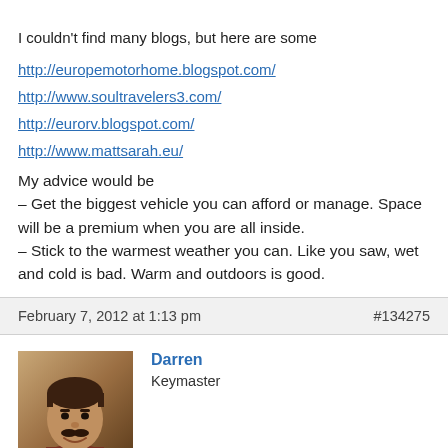I couldn't find many blogs, but here are some
http://europemotorhome.blogspot.com/
http://www.soultravelers3.com/
http://eurorv.blogspot.com/
http://www.mattsarah.eu/
My advice would be
– Get the biggest vehicle you can afford or manage. Space will be a premium when you are all inside.
– Stick to the warmest weather you can. Like you saw, wet and cold is bad. Warm and outdoors is good.
February 7, 2012 at 1:13 pm    #134275
Darren
Keymaster